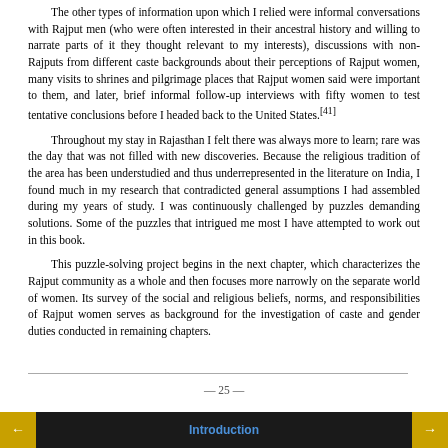The other types of information upon which I relied were informal conversations with Rajput men (who were often interested in their ancestral history and willing to narrate parts of it they thought relevant to my interests), discussions with non-Rajputs from different caste backgrounds about their perceptions of Rajput women, many visits to shrines and pilgrimage places that Rajput women said were important to them, and later, brief informal follow-up interviews with fifty women to test tentative conclusions before I headed back to the United States.[41]
Throughout my stay in Rajasthan I felt there was always more to learn; rare was the day that was not filled with new discoveries. Because the religious tradition of the area has been understudied and thus underrepresented in the literature on India, I found much in my research that contradicted general assumptions I had assembled during my years of study. I was continuously challenged by puzzles demanding solutions. Some of the puzzles that intrigued me most I have attempted to work out in this book.
This puzzle-solving project begins in the next chapter, which characterizes the Rajput community as a whole and then focuses more narrowly on the separate world of women. Its survey of the social and religious beliefs, norms, and responsibilities of Rajput women serves as background for the investigation of caste and gender duties conducted in remaining chapters.
— 25 —
Introduction